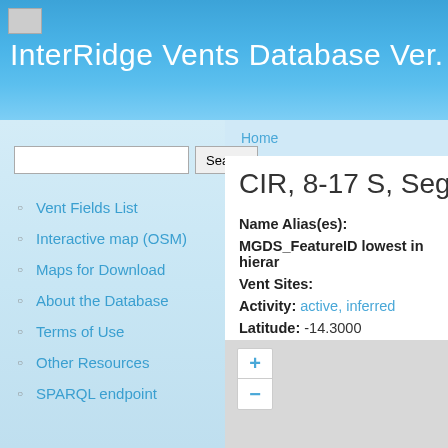InterRidge Vents Database Ver. 3.
Home
Vent Fields List
Interactive map (OSM)
Maps for Download
About the Database
Terms of Use
Other Resources
SPARQL endpoint
CIR, 8-17 S, Segment
Name Alias(es):
MGDS_FeatureID lowest in hierar
Vent Sites:
Activity: active, inferred
Latitude: -14.3000
Longitude: 66.1000
Location on map:
[Figure (map): Interactive map with zoom controls showing + and - buttons]